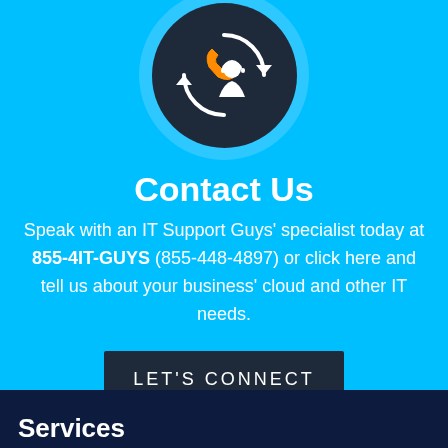[Figure (illustration): Customer support icon: person with headset surrounded by circular arrows, on a dark circular background with light blue outer ring]
Contact Us
Speak with an IT Support Guys' specialist today at 855-4IT-GUYS (855-448-4897) or click here and tell us about your business' cloud and other IT needs.
LET'S CONNECT
Services